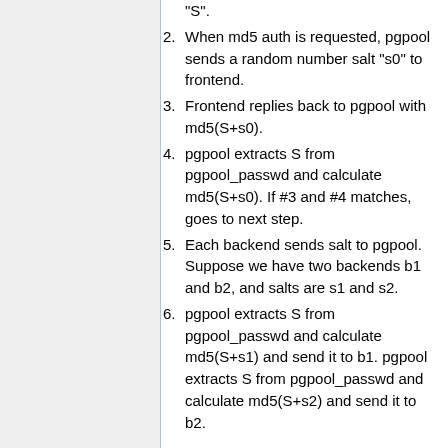"S".
When md5 auth is requested, pgpool sends a random number salt "s0" to frontend.
Frontend replies back to pgpool with md5(S+s0).
pgpool extracts S from pgpool_passwd and calculate md5(S+s0). If #3 and #4 matches, goes to next step.
Each backend sends salt to pgpool. Suppose we have two backends b1 and b2, and salts are s1 and s2.
pgpool extracts S from pgpool_passwd and calculate md5(S+s1) and send it to b1. pgpool extracts S from pgpool_passwd and calculate md5(S+s2) and send it to b2.